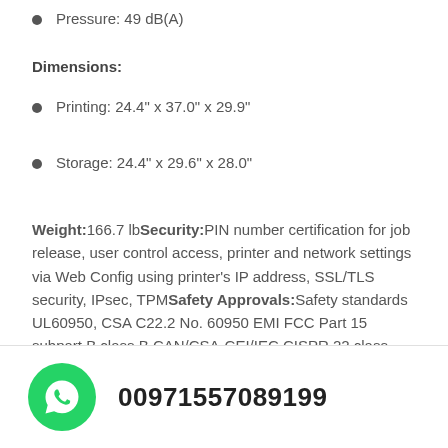Pressure: 49 dB(A)
Dimensions:
Printing: 24.4" x 37.0" x 29.9"
Storage: 24.4" x 29.6" x 28.0"
Weight:166.7 lbSecurity:PIN number certification for job release, user control access, printer and network settings via Web Config using printer's IP address, SSL/TLS security, IPsec, TPMSafety Approvals:Safety standards UL60950, CSA C22.2 No. 60950 EMI FCC Part 15 subpart B class B CAN/CSA-CEI/IEC CISPR 22 class BCountry of Origin:IndonesiaWarranty:1-year limited warranty in the U.S. and Canada
00971557089199